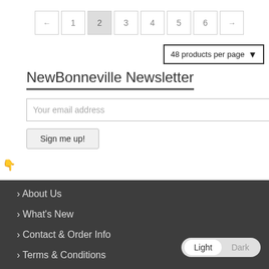[Figure (other): Pagination bar with buttons: ←, 1, 2 (active/highlighted), 3, 4, 5, 6, →]
48 products per page ▾
NewBonneville Newsletter
Your email address
Sign me up!
> About Us
> What's New
> Contact & Order Info
> Terms & Conditions
Light  Dark